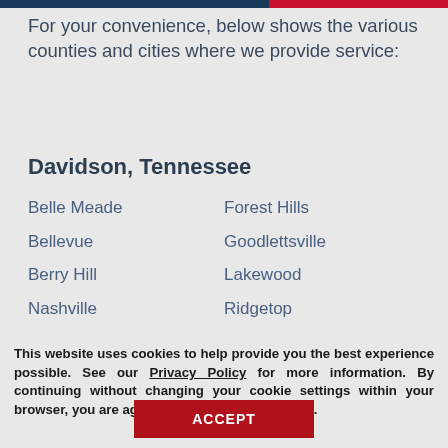For your convenience, below shows the various counties and cities where we provide service:
Davidson, Tennessee
Belle Meade
Forest Hills
Bellevue
Goodlettsville
Berry Hill
Lakewood
Nashville
Ridgetop
This website uses cookies to help provide you the best experience possible. See our Privacy Policy for more information. By continuing without changing your cookie settings within your browser, you are agreeing to our use of cookies.